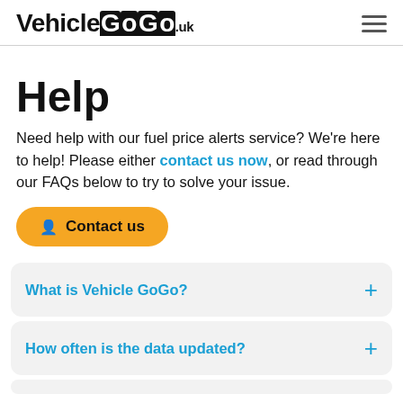VehicleGoGo.uk
Help
Need help with our fuel price alerts service? We're here to help! Please either contact us now, or read through our FAQs below to try to solve your issue.
Contact us
What is Vehicle GoGo?
How often is the data updated?